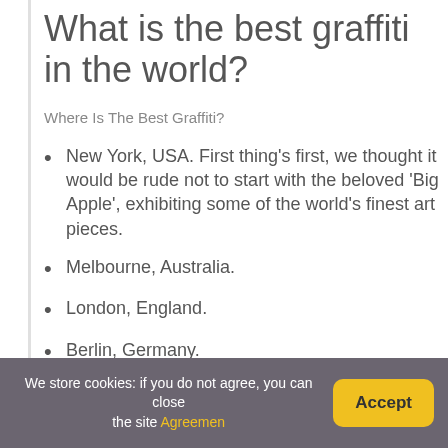What is the best graffiti in the world?
Where Is The Best Graffiti?
New York, USA. First thing's first, we thought it would be rude not to start with the beloved 'Big Apple', exhibiting some of the world's finest art pieces.
Melbourne, Australia.
London, England.
Berlin, Germany.
Granada, Spain.
Rio de Janeiro, Brazil.
We store cookies: if you do not agree, you can close the site Agreemen